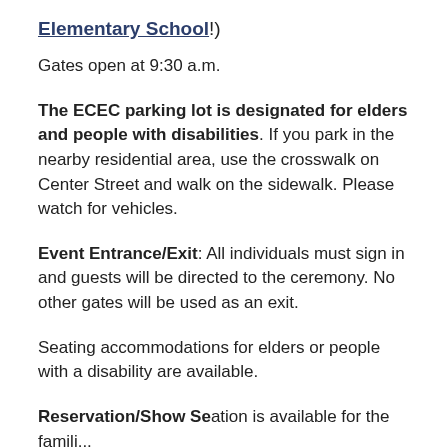Elementary School!)
Gates open at 9:30 a.m.
The ECEC parking lot is designated for elders and people with disabilities. If you park in the nearby residential area, use the crosswalk on Center Street and walk on the sidewalk. Please watch for vehicles.
Event Entrance/Exit: All individuals must sign in and guests will be directed to the ceremony. No other gates will be used as an exit.
Seating accommodations for elders or people with a disability are available.
Reservation/Show Section is available for the families...